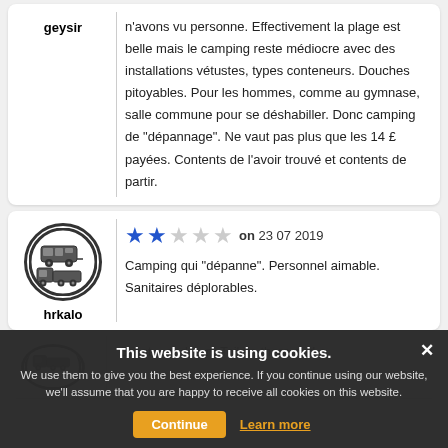n'avons vu personne. Effectivement la plage est belle mais le camping reste médiocre avec des installations vétustes, types conteneurs. Douches pitoyables. Pour les hommes, comme au gymnase, salle commune pour se déshabiller. Donc camping de "dépannage". Ne vaut pas plus que les 14 £ payées. Contents de l'avoir trouvé et contents de partir.
geysir
[Figure (illustration): Avatar icon: circular badge with RV/camping vehicle icons, username hrkalo]
hrkalo
on 23 07 2019
Camping qui "dépanne". Personnel aimable. Sanitaires déplorables.
This website is using cookies.
We use them to give you the best experience. If you continue using our website, we'll assume that you are happy to receive all cookies on this website.
Continue
Learn more
Great... and ... n. Toilets there and a